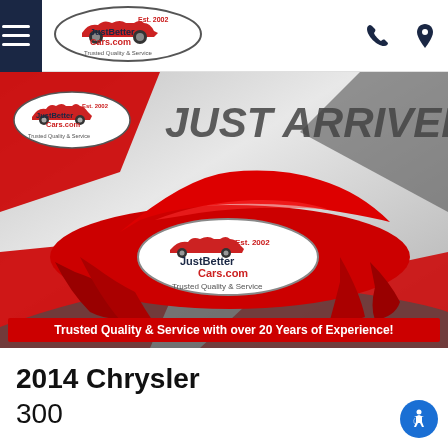JustBetterCars.com — Est. 2002 — Trusted Quality & Service
[Figure (photo): Just Arrived promotional banner image showing a red-draped car silhouette with JustBetterCars.com logo overlay and text 'JUST ARRIVED!' and 'Trusted Quality & Service with over 20 Years of Experience!']
2014 Chrysler
300